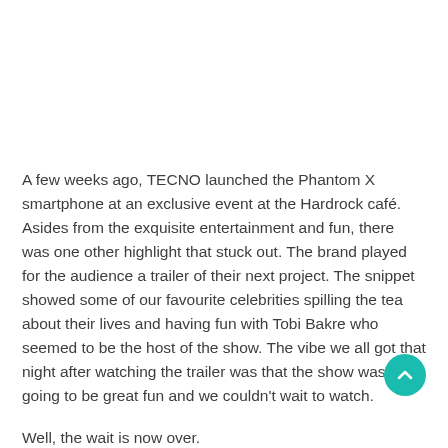A few weeks ago, TECNO launched the Phantom X smartphone at an exclusive event at the Hardrock café. Asides from the exquisite entertainment and fun, there was one other highlight that stuck out. The brand played for the audience a trailer of their next project. The snippet showed some of our favourite celebrities spilling the tea about their lives and having fun with Tobi Bakre who seemed to be the host of the show. The vibe we all got that night after watching the trailer was that the show was going to be great fun and we couldn't wait to watch.
Well, the wait is now over.